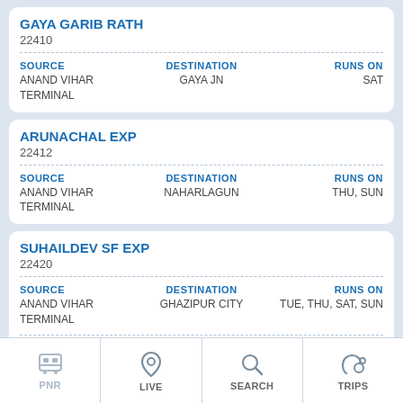GAYA GARIB RATH
22410
| SOURCE | DESTINATION | RUNS ON |
| --- | --- | --- |
| ANAND VIHAR TERMINAL | GAYA JN | SAT |
ARUNACHAL EXP
22412
| SOURCE | DESTINATION | RUNS ON |
| --- | --- | --- |
| ANAND VIHAR TERMINAL | NAHARLAGUN | THU, SUN |
SUHAILDEV SF EXP
22420
| SOURCE | DESTINATION | RUNS ON |
| --- | --- | --- |
| ANAND VIHAR TERMINAL | GHAZIPUR CITY | TUE, THU, SAT, SUN |
PNR | LIVE | SEARCH | TRIPS